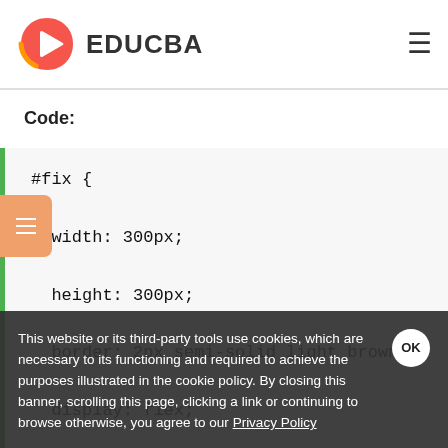[Figure (logo): EDUCBA logo with red/orange play button icon and text EDUCBA]
Code:
#fix {
  width: 300px;
  height: 300px;
  border: 2px semi-solid light brown;
  display: flex;
This website or its third-party tools use cookies, which are necessary to its functioning and required to achieve the purposes illustrated in the cookie policy. By closing this banner, scrolling this page, clicking a link or continuing to browse otherwise, you agree to our Privacy Policy